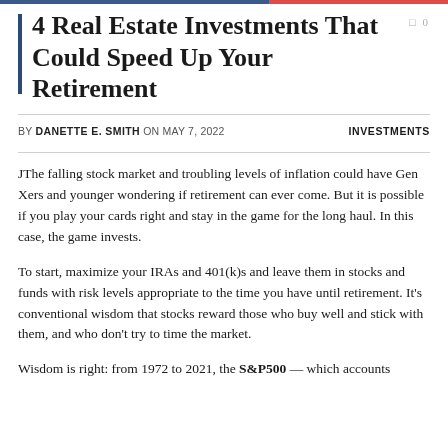4 Real Estate Investments That Could Speed Up Your Retirement
BY DANETTE E. SMITH ON MAY 7, 2022   INVESTMENTS
JThe falling stock market and troubling levels of inflation could have Gen Xers and younger wondering if retirement can ever come. But it is possible if you play your cards right and stay in the game for the long haul. In this case, the game invests.
To start, maximize your IRAs and 401(k)s and leave them in stocks and funds with risk levels appropriate to the time you have until retirement. It's conventional wisdom that stocks reward those who buy well and stick with them, and who don't try to time the market.
Wisdom is right: from 1972 to 2021, the S&P500 — which accounts